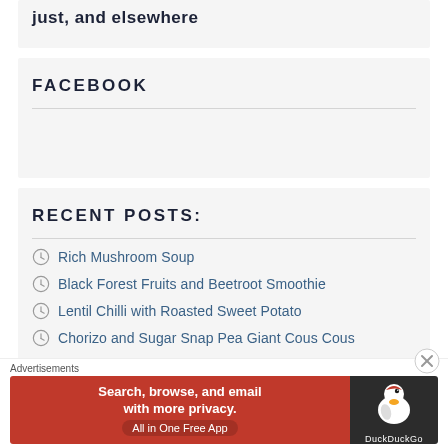…and elsewhere
FACEBOOK
RECENT POSTS:
Rich Mushroom Soup
Black Forest Fruits and Beetroot Smoothie
Lentil Chilli with Roasted Sweet Potato
Chorizo and Sugar Snap Pea Giant Cous Cous
Advertisements
[Figure (screenshot): DuckDuckGo advertisement banner: orange left panel with text 'Search, browse, and email with more privacy. All in One Free App', dark right panel with DuckDuckGo duck logo]